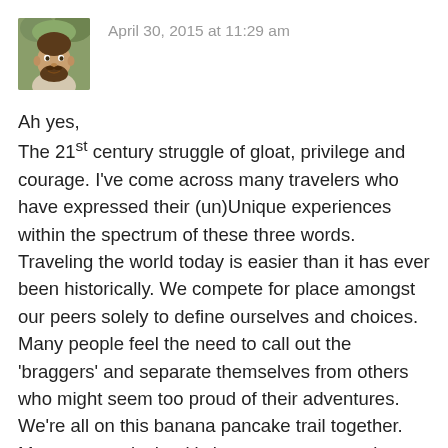[Figure (photo): Small avatar photo of a bearded man outdoors]
April 30, 2015 at 11:29 am
Ah yes,
The 21st century struggle of gloat, privilege and courage. I've come across many travelers who have expressed their (un)Unique experiences within the spectrum of these three words. Traveling the world today is easier than it has ever been historically. We compete for place amongst our peers solely to define ourselves and choices. Many people feel the need to call out the 'braggers' and separate themselves from others who might seem too proud of their adventures. We're all on this banana pancake trail together. My two cents is that it's important to remember that even the gloaters are right in their justification to experience the world. I really do think it takes a lot of courage to walk out the door and